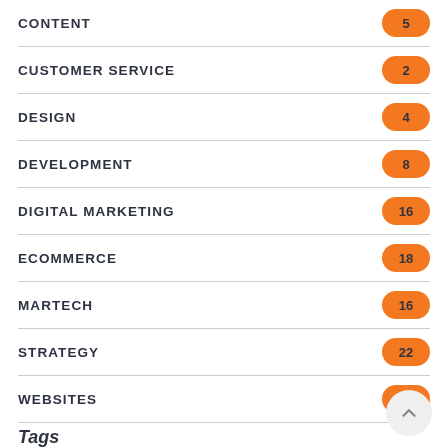CONTENT 5
CUSTOMER SERVICE 2
DESIGN 4
DEVELOPMENT 8
DIGITAL MARKETING 16
ECOMMERCE 18
MARTECH 16
STRATEGY 22
WEBSITES 14
Tags